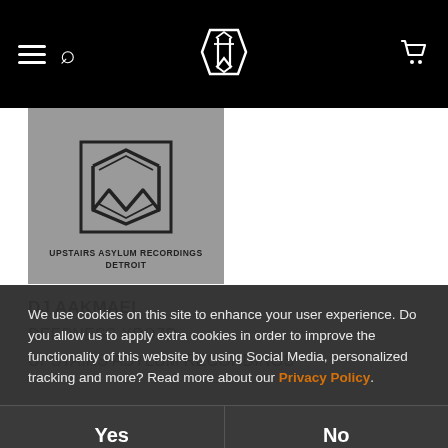Navigation bar with hamburger menu, search icon, logo, and cart icon
[Figure (logo): Upstairs Asylum Recordings Detroit label logo on grey background with geometric diamond/arrow monogram design]
DJ AAKMAEL
DEEPNESS XPOZD
UPSTAIRS ASYLUM RECORDINGS
We use cookies on this site to enhance your user experience. Do you allow us to apply extra cookies in order to improve the functionality of this website by using Social Media, personalized tracking and more? Read more about our Privacy Policy.
Yes
No